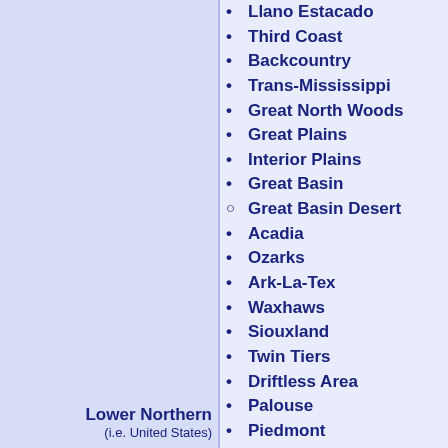Llano Estacado
Third Coast
Backcountry
Trans-Mississippi
Great North Woods
Great Plains
Interior Plains
Great Basin
Great Basin Desert
Acadia
Ozarks
Ark-La-Tex
Lower Northern
(i.e. United States)
Waxhaws
Siouxland
Twin Tiers
Driftless Area
Palouse
Piedmont
Atlantic coastal plain